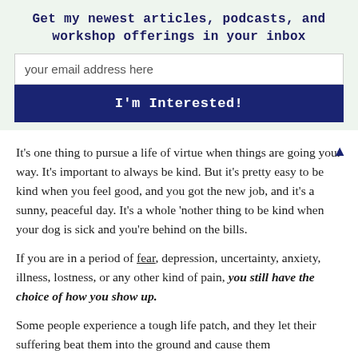Get my newest articles, podcasts, and workshop offerings in your inbox
your email address here
I'm Interested!
It's one thing to pursue a life of virtue when things are going your way. It's important to always be kind. But it's pretty easy to be kind when you feel good, and you got the new job, and it's a sunny, peaceful day. It's a whole 'nother thing to be kind when your dog is sick and you're behind on the bills.
If you are in a period of fear, depression, uncertainty, anxiety, illness, lostness, or any other kind of pain, you still have the choice of how you show up.
Some people experience a tough life patch, and they let their suffering beat them into the ground and cause them